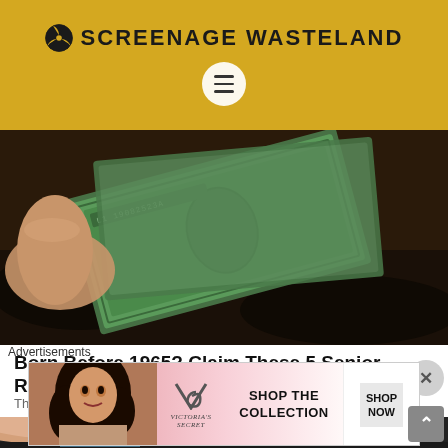SCREENAGE WASTELAND
[Figure (photo): Hands holding US dollar bills, close-up photo]
Born Before 1965? Claim These 5 Senior Rebates
The Wallet Watcher
[Figure (photo): Close-up of hand near dark textured surface, partially visible]
Advertisements
[Figure (screenshot): Victoria's Secret advertisement: Shop The Collection - Shop Now]